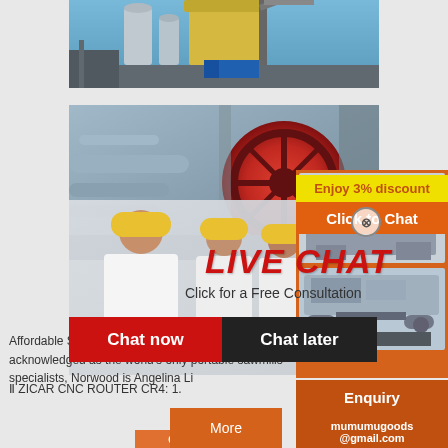[Figure (photo): Industrial facility with silos, conveyors and crane structures]
[Figure (photo): Large red industrial wheel/drum machinery with pipes]
[Figure (photo): Live chat overlay with workers in yellow hard hats smiling]
LIVE CHAT
Click for a Free Consultation
Chat now
Chat later
[Figure (photo): Orange sidebar with industrial crushing/mining machinery images]
Enjoy 3% discount
Click to Chat
Affordable Sawmills: The Frontier Widely acknowledged as the world’s only portable sawmills specialists, Norwood is Angelina Li
Ⅱ ZICAR CNC ROUTER CR4: 1.
Enquiry
mumumugoods@gmail.com
More
Get Price